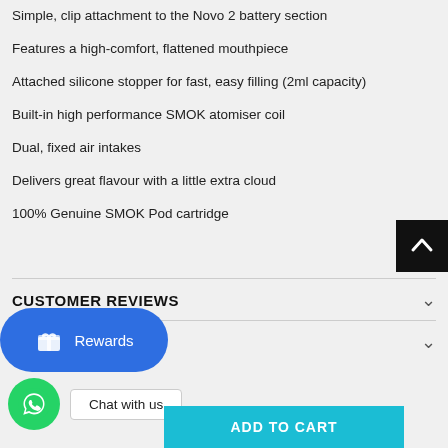Simple, clip attachment to the Novo 2 battery section
Features a high-comfort, flattened mouthpiece
Attached silicone stopper for fast, easy filling (2ml capacity)
Built-in high performance SMOK atomiser coil
Dual, fixed air intakes
Delivers great flavour with a little extra cloud
100% Genuine SMOK Pod cartridge
[Figure (other): Scroll-to-top button (black square with white up arrow)]
CUSTOMER REVIEWS
RMATION
[Figure (other): Rewards button (blue rounded rectangle with gift icon and Rewards label)]
[Figure (other): WhatsApp chat widget with green circle icon and Chat with us button]
ADD TO CART